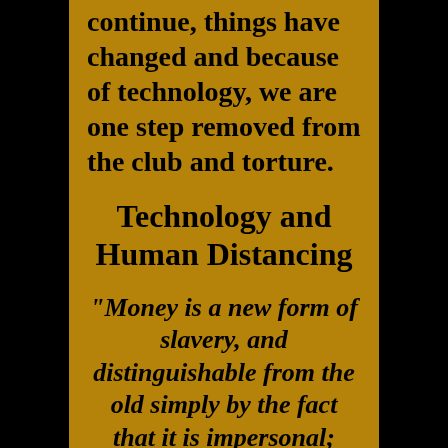continue, things have changed and because of technology, we are one step removed from the club and torture.
Technology and Human Distancing
"Money is a new form of slavery, and distinguishable from the old simply by the fact that it is impersonal; there is no human relation between master and slave"